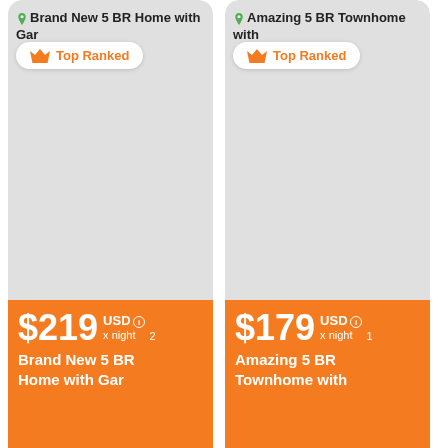Brand New 5 BR Home with Gar
Top Ranked
$219 USD x night 2
Brand New 5 BR Home with Gar
Amazing 5 BR Townhome with
Top Ranked
$179 USD x night 1
Amazing 5 BR Townhome with